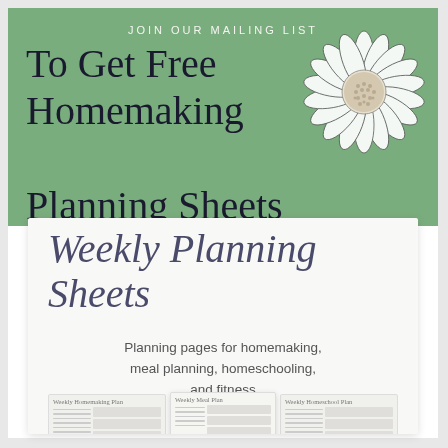JOIN OUR MAILING LIST
To Get Free Homemaking Planning Sheets
[Figure (illustration): Line drawing of a sunflower with detailed petals and center]
[Figure (illustration): White card with script text 'Weekly Planning Sheets', body text 'Planning pages for homemaking, meal planning, homeschooling, and fitness', and small preview thumbnails of planning sheets at the bottom including Weekly Homemaking Plan, Weekly Homeschool Plan, and Weekly Meal Plan]
Weekly Planning Sheets
Planning pages for homemaking, meal planning, homeschooling, and fitness